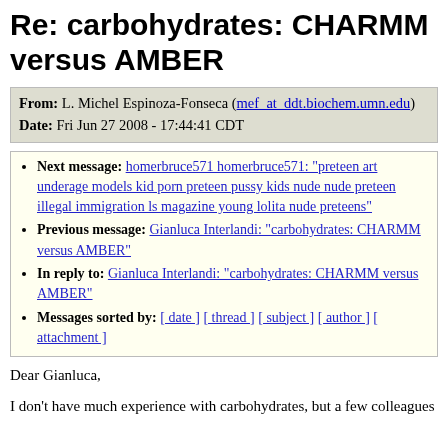Re: carbohydrates: CHARMM versus AMBER
From: L. Michel Espinoza-Fonseca (mef_at_ddt.biochem.umn.edu)
Date: Fri Jun 27 2008 - 17:44:41 CDT
Next message: homerbruce571 homerbruce571: "preteen art underage models kid porn preteen pussy kids nude nude preteen illegal immigration ls magazine young lolita nude preteens"
Previous message: Gianluca Interlandi: "carbohydrates: CHARMM versus AMBER"
In reply to: Gianluca Interlandi: "carbohydrates: CHARMM versus AMBER"
Messages sorted by: [ date ] [ thread ] [ subject ] [ author ] [ attachment ]
Dear Gianluca,
I don't have much experience with carbohydrates, but a few colleagues